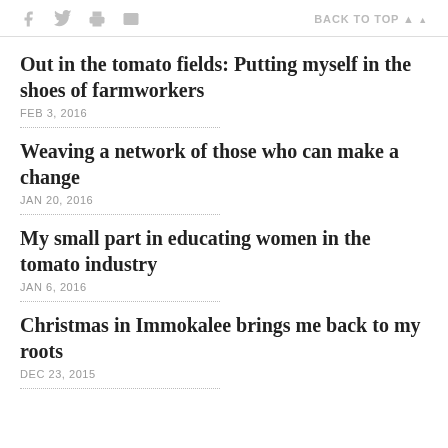f [twitter] [print] [email]   BACK TO TOP ▲
Out in the tomato fields: Putting myself in the shoes of farmworkers
FEB 3, 2016
Weaving a network of those who can make a change
JAN 20, 2016
My small part in educating women in the tomato industry
JAN 6, 2016
Christmas in Immokalee brings me back to my roots
DEC 23, 2015